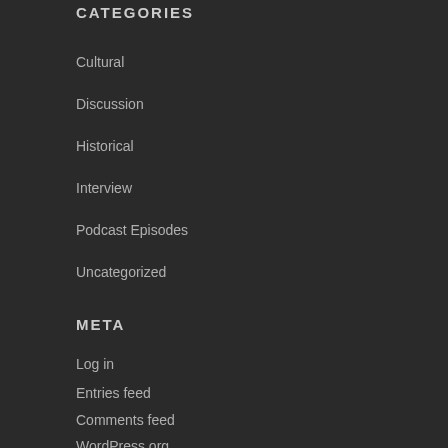CATEGORIES
Cultural
Discussion
Historical
Interview
Podcast Episodes
Uncategorized
META
Log in
Entries feed
Comments feed
WordPress.org
EPISODES LIST